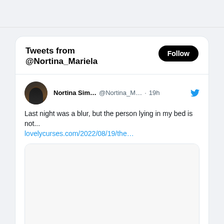Tweets from @Nortina_Mariela
Nortina Sim... @Nortina_M... · 19h
Last night was a blur, but the person lying in my bed is not...
lovelycurses.com/2022/08/19/the…
lovelycurses.com